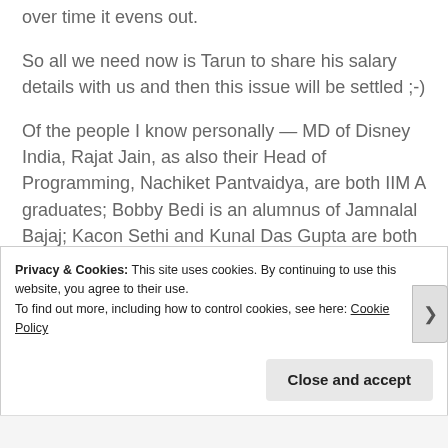over time it evens out.
So all we need now is Tarun to share his salary details with us and then this issue will be settled ;-)
Of the people I know personally — MD of Disney India, Rajat Jain, as also their Head of Programming, Nachiket Pantvaidya, are both IIM A graduates; Bobby Bedi is an alumnus of Jamnalal Bajaj; Kacon Sethi and Kunal Das Gupta are both from IIM C.
Privacy & Cookies: This site uses cookies. By continuing to use this website, you agree to their use.
To find out more, including how to control cookies, see here: Cookie Policy